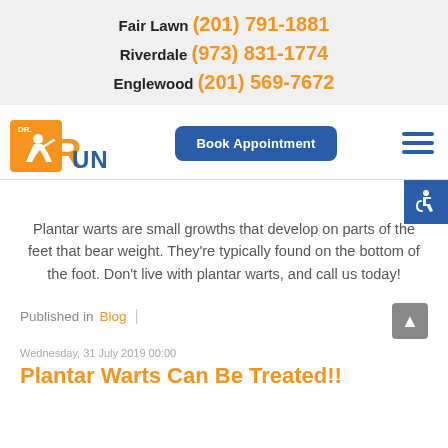Fair Lawn (201) 791-1881
Riverdale (973) 831-1774
Englewood (201) 569-7672
[Figure (logo): Dr. Run logo — orange running figure with 'DR.' above and 'RUN' text in orange and blue]
Book Appointment
[Figure (other): Hamburger menu icon (three blue horizontal lines)]
[Figure (other): Accessibility icon — white wheelchair symbol on blue background]
Plantar warts are small growths that develop on parts of the feet that bear weight. They're typically found on the bottom of the foot. Don't live with plantar warts, and call us today!
Published in Blog |
Wednesday, 31 July 2019 00:00
Plantar Warts Can Be Treated!!